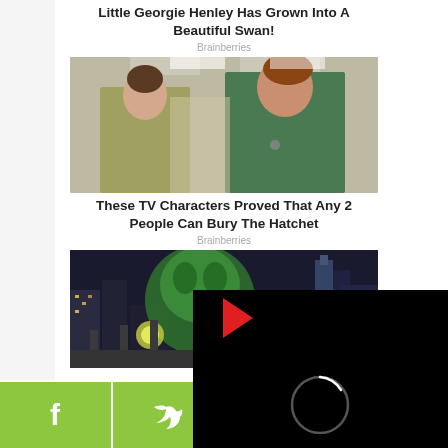Little Georgie Henley Has Grown Into A Beautiful Swan!
Brainberries
[Figure (photo): Two women standing in a hallway, one in a yellow-green shirt and one in a green dress]
These TV Characters Proved That Any 2 People Can Bury The Hatchet
Brainberries
[Figure (screenshot): Animated scene with a green creature against a city skyline at night, with a video player overlay showing a play button and loading spinner]
Why Do We Lo
[Figure (other): Social sharing bar with Facebook, Twitter, and WhatsApp icons on a green background]